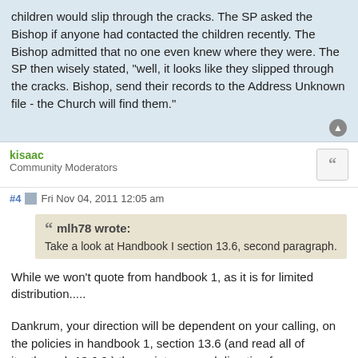children would slip through the cracks. The SP asked the Bishop if anyone had contacted the children recently. The Bishop admitted that no one even knew where they were. The SP then wisely stated, "well, it looks like they slipped through the cracks. Bishop, send their records to the Address Unknown file - the Church will find them."
kisaac
Community Moderators
#4  Fri Nov 04, 2011 12:05 am
mlh78 wrote:
Take a look at Handbook I section 13.6, second paragraph.
While we won't quote from handbook 1, as it is for limited distribution.....
Dankrum, your direction will be dependent on your calling, on the policies in handbook 1, section 13.6 (and read all of it....through 13.6.9,) the scriptures, and direction from your bishop and perhaps from conversations with the bishop in the other area, followed by their ponder and prayer, to resolve your matter....
And then to their file leaders, if appropriate or necessary...